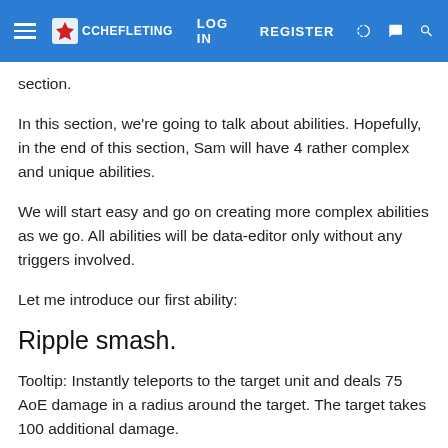LOG IN  REGISTER
section.
In this section, we're going to talk about abilities. Hopefully, in the end of this section, Sam will have 4 rather complex and unique abilities.
We will start easy and go on creating more complex abilities as we go. All abilities will be data-editor only without any triggers involved.
Let me introduce our first ability:
Ripple smash.
Tooltip: Instantly teleports to the target unit and deals 75 AoE damage in a radius around the target. The target takes 100 additional damage.
I hope you don't get discouraged when I say this is probably